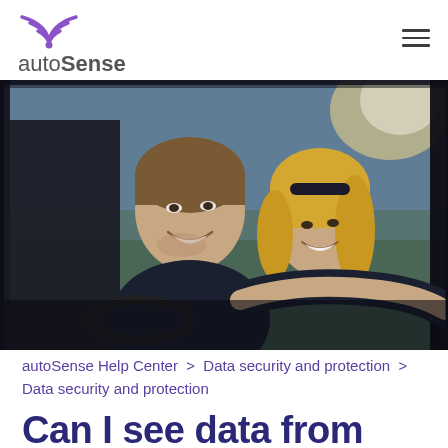autoSense
[Figure (photo): A smiling man in the driver's seat of a car with a smiling woman in the passenger seat, photographed from outside the car window with bright sunlight in the background.]
autoSense Help Center > Data security and protection > Data security and protection
Can I see data from